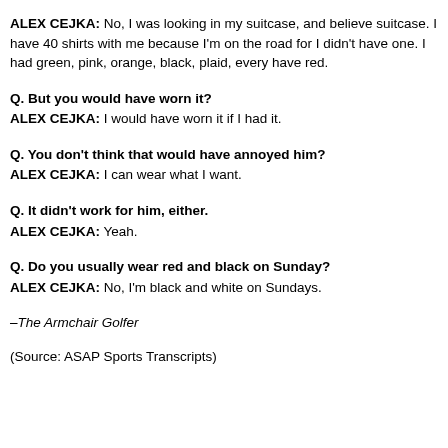ALEX CEJKA: No, I was looking in my suitcase, and believe suitcase. I have 40 shirts with me because I'm on the road for I didn't have one. I had green, pink, orange, black, plaid, every have red.
Q. But you would have worn it?
ALEX CEJKA: I would have worn it if I had it.
Q. You don't think that would have annoyed him?
ALEX CEJKA: I can wear what I want.
Q. It didn't work for him, either.
ALEX CEJKA: Yeah.
Q. Do you usually wear red and black on Sunday?
ALEX CEJKA: No, I'm black and white on Sundays.
–The Armchair Golfer
(Source: ASAP Sports Transcripts)